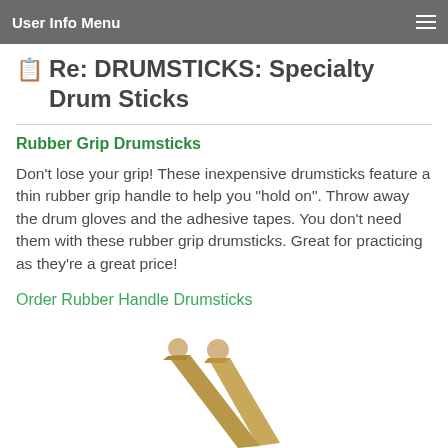User Info Menu
Re: DRUMSTICKS: Specialty Drum Sticks
Rubber Grip Drumsticks
Don't lose your grip! These inexpensive drumsticks feature a thin rubber grip handle to help you "hold on". Throw away the drum gloves and the adhesive tapes. You don't need them with these rubber grip drumsticks. Great for practicing as they're a great price!
Order Rubber Handle Drumsticks
[Figure (photo): Two wooden drumsticks crossing each other, shown from the lower-left portion of the image]